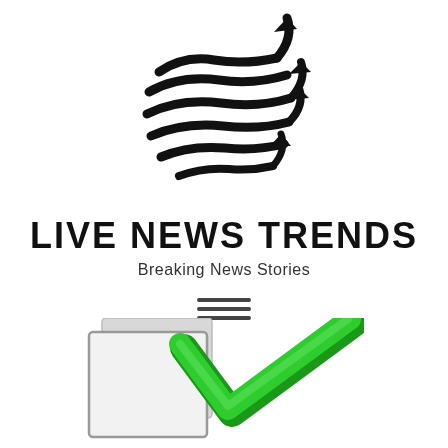[Figure (logo): Globe with circling arrows forming a spinning world logo, black and white]
LIVE NEWS TRENDS
Breaking News Stories
[Figure (other): Hamburger menu icon with three horizontal lines]
[Figure (illustration): Checkbox with a green checkmark overlapping it, partially visible at bottom of page]